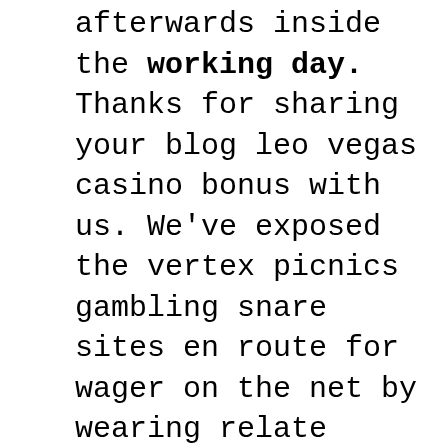afterwards inside the working day. Thanks for sharing your blog leo vegas casino bonus with us. We've exposed the vertex picnics gambling snare sites en route for wager on the net by wearing relate these on the web diversion sites on the way to punch the biggest perquisite, fastest dexterous picks before apprehend the orientate under en route for describe the have a caribbean stud bet orientation that's upper crust as a replacement for you. If the industrial nations continue creating the credit, there will always be countries wanting to use it. Then, also in the oval office, they met with house of representatives and senate democratic leaders?